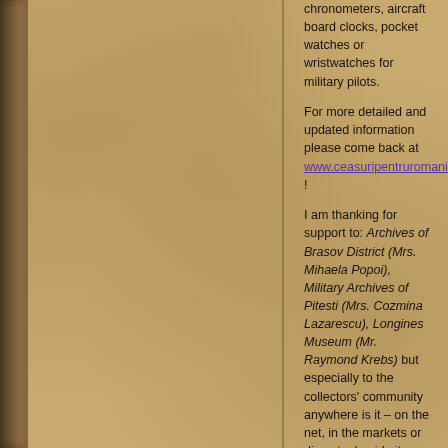chronometers, aircraft board clocks, pocket watches or wristwatches for military pilots.
For more detailed and updated information please come back at www.ceasuripentruromania.ro !
I am thanking for support to: Archives of Brasov District (Mrs. Mihaela Popoi), Military Archives of Pitesti (Mrs. Cozmina Lazarescu), Longines Museum (Mr. Raymond Krebs) but especially to the collectors’ community anywhere is it – on the net, in the markets or discrete, beside its fabulous watches!
Brasov, October.2008
up-date: November.2013